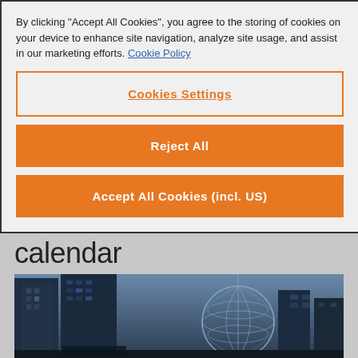By clicking "Accept All Cookies", you agree to the storing of cookies on your device to enhance site navigation, analyze site usage, and assist in our marketing efforts. Cookie Policy
Cookies Settings
Reject All
Accept All Cookies (incl. US)
Global OSRAM event calendar
[Figure (photo): City skyline with tall buildings and a globe sculpture, tinted dark blue]